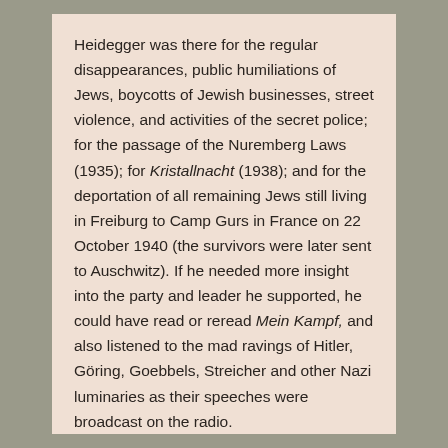Heidegger was there for the regular disappearances, public humiliations of Jews, boycotts of Jewish businesses, street violence, and activities of the secret police; for the passage of the Nuremberg Laws (1935); for Kristallnacht (1938); and for the deportation of all remaining Jews still living in Freiburg to Camp Gurs in France on 22 October 1940 (the survivors were later sent to Auschwitz). If he needed more insight into the party and leader he supported, he could have read or reread Mein Kampf, and also listened to the mad ravings of Hitler, Göring, Goebbels, Streicher and other Nazi luminaries as their speeches were broadcast on the radio.